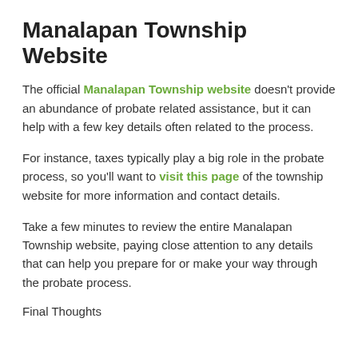Manalapan Township Website
The official Manalapan Township website doesn't provide an abundance of probate related assistance, but it can help with a few key details often related to the process.
For instance, taxes typically play a big role in the probate process, so you'll want to visit this page of the township website for more information and contact details.
Take a few minutes to review the entire Manalapan Township website, paying close attention to any details that can help you prepare for or make your way through the probate process.
Final Thoughts